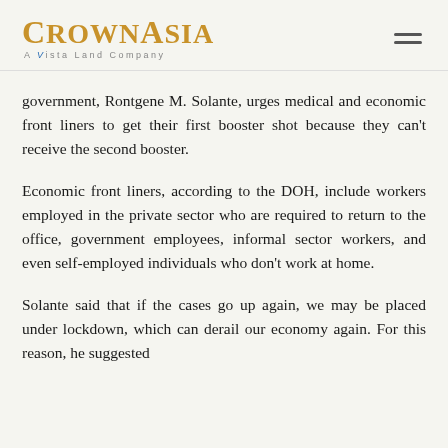CrownAsia — A Vista Land Company
government, Rontgene M. Solante, urges medical and economic front liners to get their first booster shot because they can't receive the second booster.
Economic front liners, according to the DOH, include workers employed in the private sector who are required to return to the office, government employees, informal sector workers, and even self-employed individuals who don't work at home.
Solante said that if the cases go up again, we may be placed under lockdown, which can derail our economy again. For this reason, he suggested